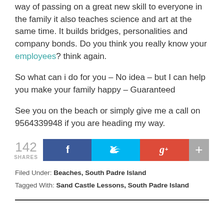way of passing on a great new skill to everyone in the family it also teaches science and art at the same time. It builds bridges, personalities and company bonds. Do you think you really know your employees? think again.
So what can i do for you – No idea – but I can help you make your family happy – Guaranteed
See you on the beach or simply give me a call on 9564339948 if you are heading my way.
[Figure (infographic): Social share buttons: 142 SHARES, Facebook (blue), Twitter (cyan), Google+ (red), plus button (grey)]
Filed Under: Beaches, South Padre Island
Tagged With: Sand Castle Lessons, South Padre Island